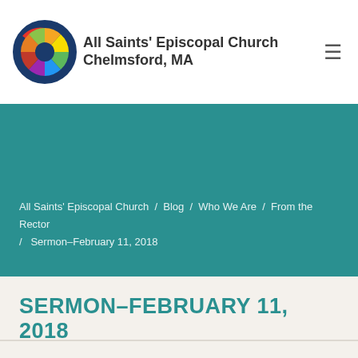All Saints' Episcopal Church Chelmsford, MA
All Saints' Episcopal Church / Blog / Who We Are / From the Rector / Sermon–February 11, 2018
SERMON–FEBRUARY 11, 2018